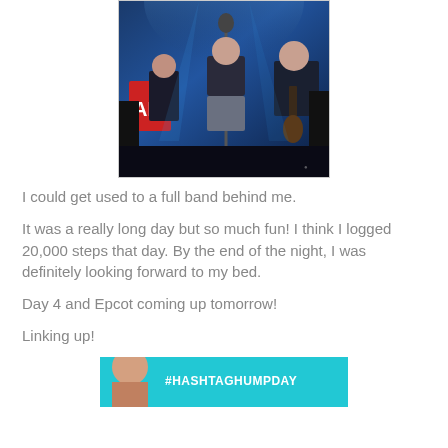[Figure (photo): Concert photo showing a performer on stage under blue lighting with band members in background and a red sign partially visible]
I could get used to a full band behind me.
It was a really long day but so much fun! I think I logged 20,000 steps that day. By the end of the night, I was definitely looking forward to my bed.
Day 4 and Epcot coming up tomorrow!
Linking up!
[Figure (photo): Promotional image with teal background showing #HASHTAGHUMPDAY text]